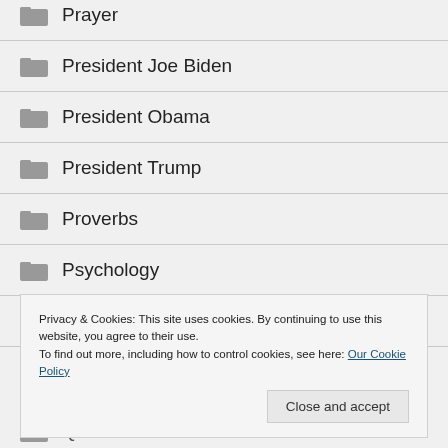Prayer
President Joe Biden
President Obama
President Trump
Proverbs
Psychology
Punishment
Privacy & Cookies: This site uses cookies. By continuing to use this website, you agree to their use. To find out more, including how to control cookies, see here: Our Cookie Policy
Quotes